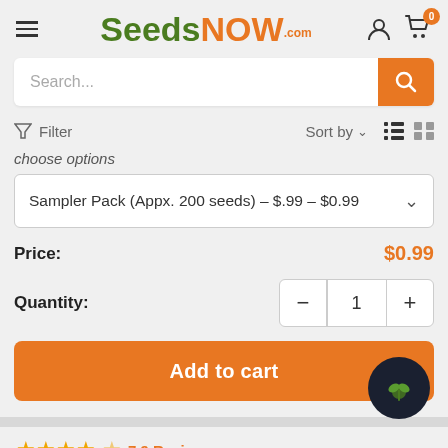[Figure (screenshot): SeedsNow.com website header with hamburger menu, logo, user icon, and cart icon with badge showing 0]
Search...
Filter   Sort by
choose options
Sampler Pack (Appx. 200 seeds) - $.99 - $0.99
Price: $0.99
Quantity: 1
Add to cart
7.9 Reviews